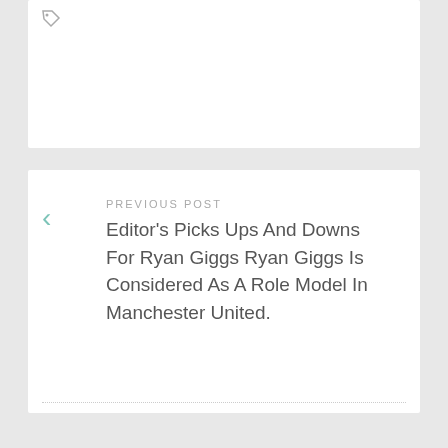[Figure (other): Tag/label icon in top left of white card]
PREVIOUS POST
Editor's Picks Ups And Downs For Ryan Giggs Ryan Giggs Is Considered As A Role Model In Manchester United.
NEXT POST
This Skin Condition Is Associated With Disorders That Affect Insulin Levels, Normally Ones Causing High Blood Sugar, Or Hyperglycemia.